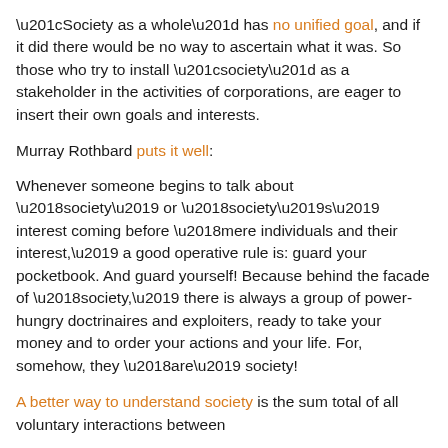“Society as a whole” has no unified goal, and if it did there would be no way to ascertain what it was. So those who try to install “society” as a stakeholder in the activities of corporations, are eager to insert their own goals and interests.
Murray Rothbard puts it well:
Whenever someone begins to talk about ‘society’ or ‘society’s’ interest coming before ‘mere individuals and their interest,’ a good operative rule is: guard your pocketbook. And guard yourself! Because behind the facade of ‘society,’ there is always a group of power-hungry doctrinaires and exploiters, ready to take your money and to order your actions and your life. For, somehow, they ‘are’ society!
A better way to understand society is the sum total of all voluntary interactions between